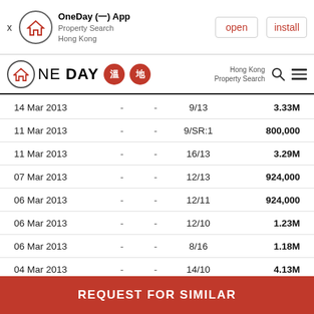OneDay (一) App | Property Search Hong Kong | open | install
OneDay 溫地 — Hong Kong Property Search
| Date |  |  | Unit/Floor | Price |
| --- | --- | --- | --- | --- |
| 14 Mar 2013 | - | - | 9/13 | 3.33M |
| 11 Mar 2013 | - | - | 9/SR:1 | 800,000 |
| 11 Mar 2013 | - | - | 16/13 | 3.29M |
| 07 Mar 2013 | - | - | 12/13 | 924,000 |
| 06 Mar 2013 | - | - | 12/11 | 924,000 |
| 06 Mar 2013 | - | - | 12/10 | 1.23M |
| 06 Mar 2013 | - | - | 8/16 | 1.18M |
| 04 Mar 2013 | - | - | 14/10 | 4.13M |
| 04 Mar 2013 | - | - | 5/5 | 3.18M |
| 04 Mar 2013 | - | - | 12/15 | 924,000 |
REQUEST FOR SIMILAR